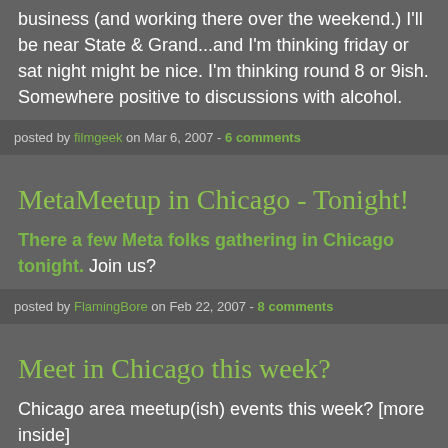business (and working there over the weekend.) I'll be near State & Grand...and I'm thinking friday or sat night might be nice. I'm thinking round 8 or 9ish. Somewhere positive to discussions with alcohol.
posted by filmgeek on Mar 6, 2007 - 6 comments
MetaMeetup in Chicago - Tonight!
There a few Meta folks gathering in Chicago tonight. Join us?
posted by FlamingBore on Feb 22, 2007 - 8 comments
Meet in Chicago this week?
Chicago area meetup(ish) events this week? [more inside]
posted by FlamingBore on Jan 23, 2007 - 7 comments